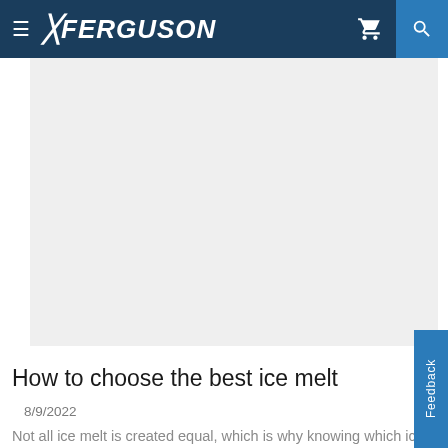FERGUSON
[Figure (photo): Large hero image placeholder with light gray background, likely featuring an ice melt product or winter scene]
How to choose the best ice melt
8/9/2022
Not all ice melt is created equal, which is why knowing which ice melt to choose can be challenging. Some ice melt is